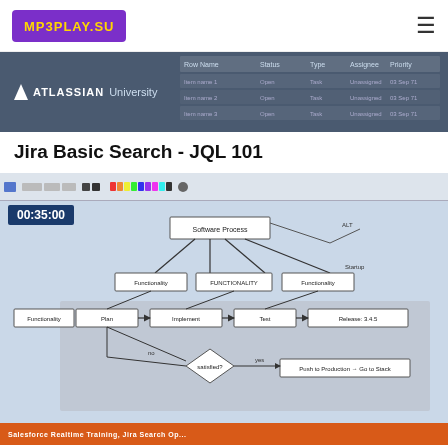MP3PLAY.SU
[Figure (screenshot): Atlassian University course listing banner with table of course entries]
Jira Basic Search - JQL 101
[Figure (screenshot): Screenshot of a drawing application showing a flowchart/process diagram with boxes and arrows, timestamp 00:35:00 in top left corner]
Salesforce Realtime Training, Jira Search Op...